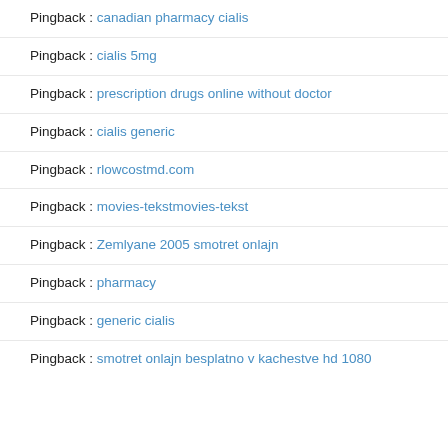Pingback : canadian pharmacy cialis
Pingback : cialis 5mg
Pingback : prescription drugs online without doctor
Pingback : cialis generic
Pingback : rlowcostmd.com
Pingback : movies-tekstmovies-tekst
Pingback : Zemlyane 2005 smotret onlajn
Pingback : pharmacy
Pingback : generic cialis
Pingback : smotret onlajn besplatno v kachestve hd 1080